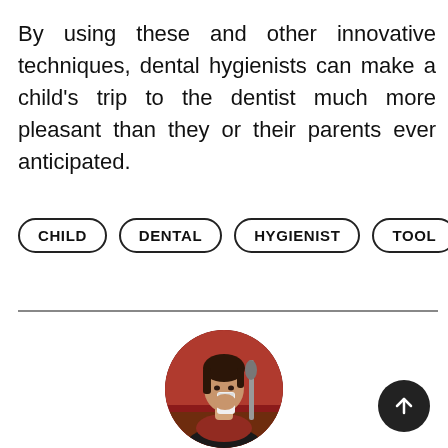By using these and other innovative techniques, dental hygienists can make a child's trip to the dentist much more pleasant than they or their parents ever anticipated.
CHILD
DENTAL
HYGIENIST
TOOL
[Figure (photo): Circular profile photo of a person drinking from a cup, wearing a dark top and red scarf, in a warm indoor setting.]